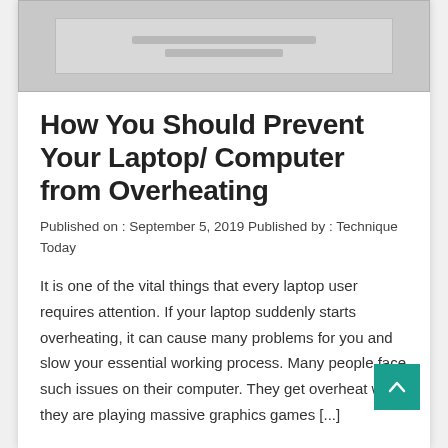[Figure (screenshot): Laptop or computer illustration placeholder image in gray tones]
How You Should Prevent Your Laptop/ Computer from Overheating
Published on : September 5, 2019 Published by : Technique Today
It is one of the vital things that every laptop user requires attention. If your laptop suddenly starts overheating, it can cause many problems for you and slow your essential working process. Many people face such issues on their computer. They get overheat when they are playing massive graphics games [...]